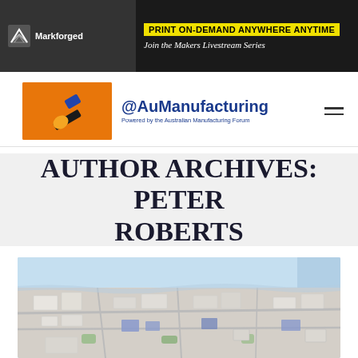[Figure (screenshot): Markforged banner ad with text PRINT ON-DEMAND ANYWHERE ANYTIME and Join the Makers Livestream Series on dark background]
[Figure (logo): @AuManufacturing logo with hammer illustration - Powered by the Australian Manufacturing Forum]
AUTHOR ARCHIVES: PETER ROBERTS
[Figure (photo): Aerial view of a development site or urban planning map showing buildings and infrastructure]